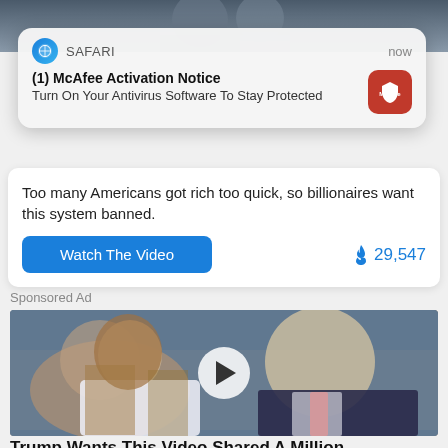[Figure (screenshot): Top portion of a social media or news feed page showing a blurred/cropped image of people at the top]
[Figure (screenshot): Safari browser push notification card: title '(1) McAfee Activation Notice', subtitle 'Turn On Your Antivirus Software To Stay Protected', with McAfee red icon on right]
Too many Americans got rich too quick, so billionaires want this system banned.
[Figure (other): Blue 'Watch The Video' button and fire icon with count 29,547]
Sponsored Ad
[Figure (photo): Video thumbnail photo of two people (woman with long brown hair in white top, man in dark suit with red tie), with a white circle play button overlay]
Trump Wants This Video Shared A Million